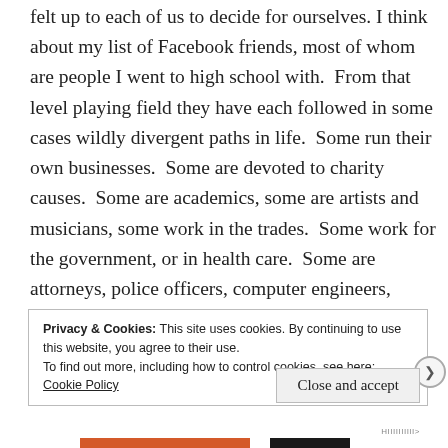felt up to each of us to decide for ourselves. I think about my list of Facebook friends, most of whom are people I went to high school with.  From that level playing field they have each followed in some cases wildly divergent paths in life.  Some run their own businesses.  Some are devoted to charity causes.  Some are academics, some are artists and musicians, some work in the trades.  Some work for the government, or in health care.  Some are attorneys, police officers, computer engineers, teachers, some are stay-at-home parents raising wonderful kids.  Some love
Privacy & Cookies: This site uses cookies. By continuing to use this website, you agree to their use.
To find out more, including how to control cookies, see here: Cookie Policy
Close and accept